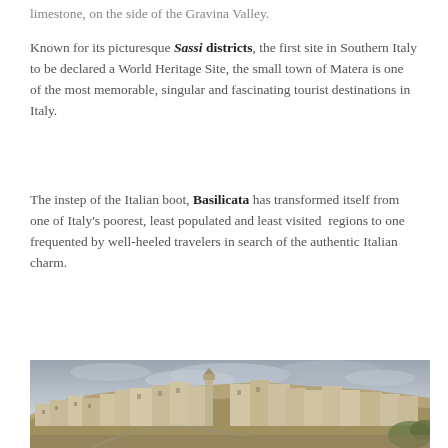limestone, on the side of the Gravina Valley.
Known for its picturesque Sassi districts, the first site in Southern Italy to be declared a World Heritage Site, the small town of Matera is one of the most memorable, singular and fascinating tourist destinations in Italy.
The instep of the Italian boot, Basilicata has transformed itself from one of Italy's poorest, least populated and least visited regions to one frequented by well-heeled travelers in search of the authentic Italian charm.
[Figure (photo): Panoramic view of Matera, Italy, showing the ancient cave dwellings (Sassi) built into a hillside with a church bell tower visible and a cloudy sky in the background.]